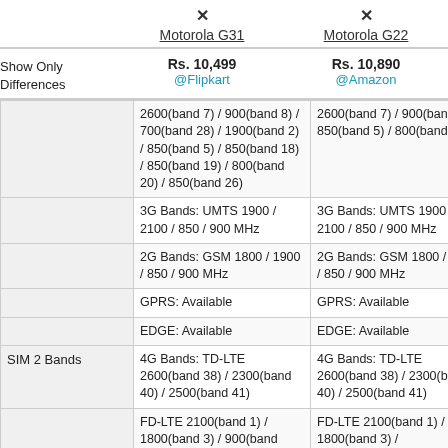|  | Motorola G31 | Motorola G22 |
| --- | --- | --- |
| Show Only Differences | Rs. 10,499
@Flipkart | Rs. 10,890
@Amazon |
|  | 2600(band 7) / 900(band 8) / 700(band 28) / 1900(band 2) / 850(band 5) / 850(band 18) / 850(band 19) / 800(band 20) / 850(band 26) | 2600(band 7) / 900(band 8) / 850(band 5) / 800(band 20) |
|  | 3G Bands: UMTS 1900 / 2100 / 850 / 900 MHz | 3G Bands: UMTS 1900 / 2100 / 850 / 900 MHz |
|  | 2G Bands: GSM 1800 / 1900 / 850 / 900 MHz | 2G Bands: GSM 1800 / 1900 / 850 / 900 MHz |
|  | GPRS: Available | GPRS: Available |
|  | EDGE: Available | EDGE: Available |
| SIM 2 Bands | 4G Bands: TD-LTE 2600(band 38) / 2300(band 40) / 2500(band 41) | 4G Bands: TD-LTE 2600(band 38) / 2300(band 40) / 2500(band 41) |
|  | FD-LTE 2100(band 1) / 1800(band 3) / 900(band ... | FD-LTE 2100(band 1) / 1800(band 3) / ... |